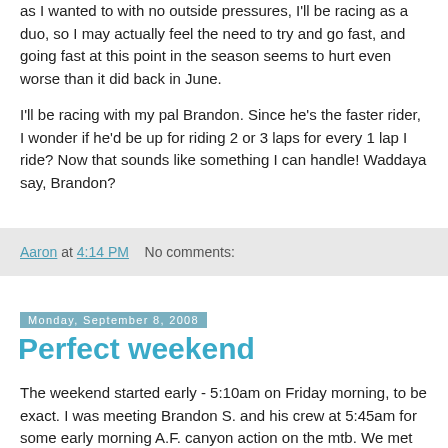as I wanted to with no outside pressures, I'll be racing as a duo, so I may actually feel the need to try and go fast, and going fast at this point in the season seems to hurt even worse than it did back in June.
I'll be racing with my pal Brandon. Since he's the faster rider, I wonder if he'd be up for riding 2 or 3 laps for every 1 lap I ride? Now that sounds like something I can handle! Waddaya say, Brandon?
Aaron at 4:14 PM    No comments:
Monday, September 8, 2008
Perfect weekend
The weekend started early - 5:10am on Friday morning, to be exact. I was meeting Brandon S. and his crew at 5:45am for some early morning A.F. canyon action on the mtb. We met up at the mouth of the canyon, and I'll admit I was a bit skeptical based on my initial impressions. Because I'm becoming a cross country mountain bike snob. The ride had